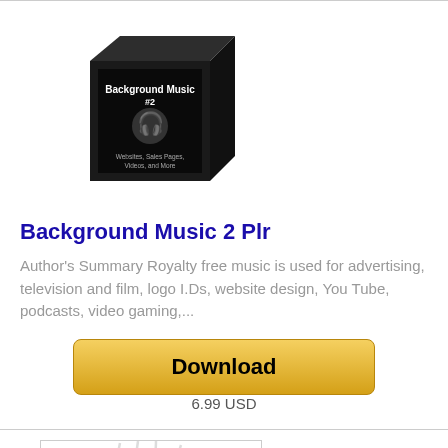[Figure (illustration): 3D box product image for Background Music 2 PLR, black box with DJ character graphic]
Background Music 2 Plr
Author's Summary Royalty free music is used for advertising, television and film, logo I.Ds, website design, You Tube, podcasts, video gaming,...
[Figure (other): Download button, golden/yellow gradient rounded rectangle button with text 'Download']
6.99 USD
[Figure (illustration): Partial view of a purple and white eye illustration at bottom of page, partially cropped]